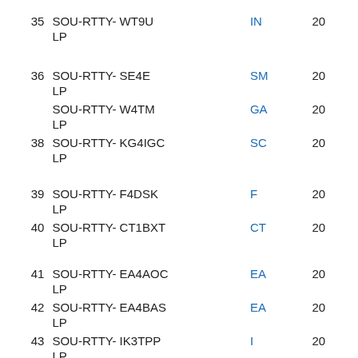| # | Name | State | Year |
| --- | --- | --- | --- |
| 35 | SOU-RTTY- WT9U LP | IN | 20 |
| 36 | SOU-RTTY- SE4E LP | SM | 20 |
|  | SOU-RTTY- W4TM LP | GA | 20 |
| 38 | SOU-RTTY- KG4IGC LP | SC | 20 |
| 39 | SOU-RTTY- F4DSK LP | F | 20 |
| 40 | SOU-RTTY- CT1BXT LP | CT | 20 |
| 41 | SOU-RTTY- EA4AOC LP | EA | 20 |
| 42 | SOU-RTTY- EA4BAS LP | EA | 20 |
| 43 | SOU-RTTY- IK3TPP LP | I | 20 |
| 44 | SOU-RTTY- KS4S | NC | 20 |